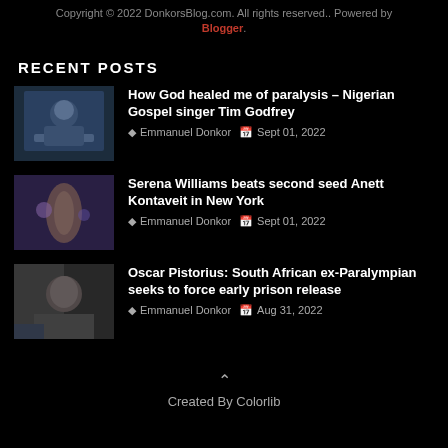Copyright © 2022 DonkorsBlog.com. All rights reserved.. Powered by Blogger.
RECENT POSTS
How God healed me of paralysis – Nigerian Gospel singer Tim Godfrey | Emmanuel Donkor | Sept 01, 2022
Serena Williams beats second seed Anett Kontaveit in New York | Emmanuel Donkor | Sept 01, 2022
Oscar Pistorius: South African ex-Paralympian seeks to force early prison release | Emmanuel Donkor | Aug 31, 2022
Created By Colorlib